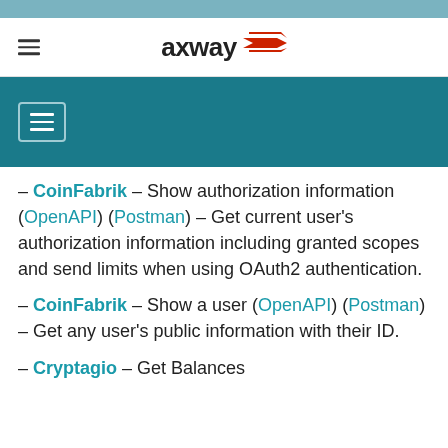axway
– CoinFabrik – Show authorization information (OpenAPI) (Postman) – Get current user's authorization information including granted scopes and send limits when using OAuth2 authentication.
– CoinFabrik – Show a user (OpenAPI) (Postman) – Get any user's public information with their ID.
– Cryptagio – Get Balances